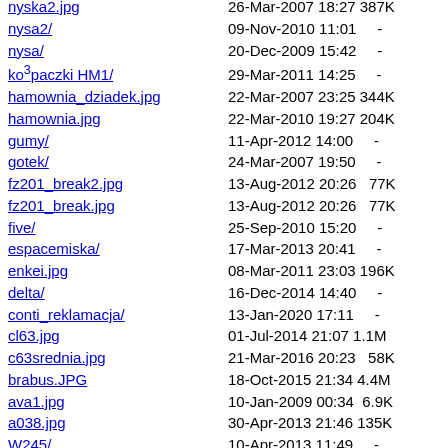nyska2.jpg  26-Mar-2007 18:27  387K
nysa2/  09-Nov-2010 11:01  -
nysa/  20-Dec-2009 15:42  -
ko³paczki HM1/  29-Mar-2011 14:25  -
hamownia_dziadek.jpg  22-Mar-2007 23:25  344K
hamownia.jpg  22-Mar-2010 19:27  204K
gumy/  11-Apr-2012 14:00  -
gotek/  24-Mar-2007 19:50  -
fz201_break2.jpg  13-Aug-2012 20:26  77K
fz201_break.jpg  13-Aug-2012 20:26  77K
five/  25-Sep-2010 15:20  -
espacemiska/  17-Mar-2013 20:41  -
enkei.jpg  08-Mar-2011 23:03  196K
delta/  16-Dec-2014 14:40  -
conti_reklamacja/  13-Jan-2020 17:11  -
cl63.jpg  01-Jul-2014 21:07  1.1M
c63srednia.jpg  21-Mar-2016 20:23  58K
brabus.JPG  18-Oct-2015 21:34  4.4M
ava1.jpg  10-Jan-2009 00:34  6.9K
a038.jpg  30-Apr-2013 21:46  135K
W245/  10-Apr-2013 11:49  -